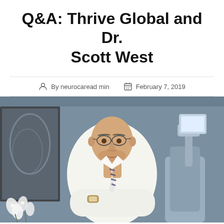Q&A: Thrive Global and Dr. Scott West
By neurocaread min   February 7, 2019
[Figure (photo): Dr. Scott West, a bald man wearing glasses and a striped tie, sitting with arms crossed in a medical office environment with equipment visible in the background.]